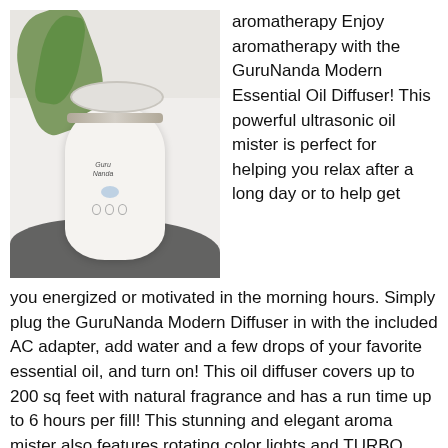[Figure (photo): GuruNanda Modern Essential Oil Diffuser product photo — white cylindrical diffuser with silver band, blue button, shown on white surface with green leaf in background and dark cloth]
aromatherapy Enjoy aromatherapy with the GuruNanda Modern Essential Oil Diffuser! This powerful ultrasonic oil mister is perfect for helping you relax after a long day or to help get you energized or motivated in the morning hours. Simply plug the GuruNanda Modern Diffuser in with the included AC adapter, add water and a few drops of your favorite essential oil, and turn on! This oil diffuser covers up to 200 sq feet with natural fragrance and has a run time up to 6 hours per fill! This stunning and elegant aroma mister also features rotating color lights and TURBO mode to give you